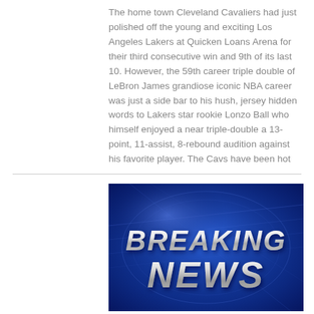The home town Cleveland Cavaliers had just polished off the young and exciting Los Angeles Lakers at Quicken Loans Arena for their third consecutive win and 9th of its last 10. However, the 59th career triple double of LeBron James grandiose iconic NBA career was just a side bar to his hush, jersey hidden words to Lakers star rookie Lonzo Ball who himself enjoyed a near triple-double a 13-point, 11-assist, 8-rebound audition against his favorite player. The Cavs have been hot
[Figure (photo): Breaking News graphic with bold silver/white 3D text 'BREAKING NEWS' on a blue background with light streaks and circular overlay patterns.]